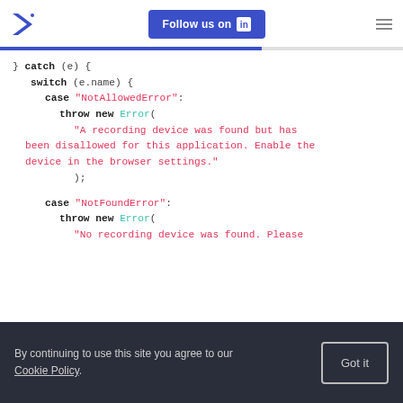Follow us on LinkedIn
[Figure (screenshot): Code block showing JavaScript try-catch switch statement with NotAllowedError and NotFoundError cases]
By continuing to use this site you agree to our Cookie Policy. Got it